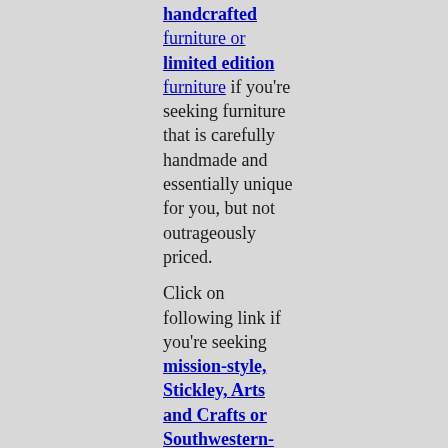handcrafted furniture or limited edition furniture if you're seeking furniture that is carefully handmade and essentially unique for you, but not outrageously priced. Click on following link if you're seeking mission-style, Stickley, Arts and Crafts or Southwestern-style furniture .